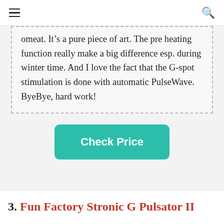☰ [menu] [search]
omeat. It's a pure piece of art. The pre heating function really make a big difference esp. during winter time. And I love the fact that the G-spot stimulation is done with automatic PulseWave. ByeBye, hard work!
Check Price
3. Fun Factory Stronic G Pulsator II